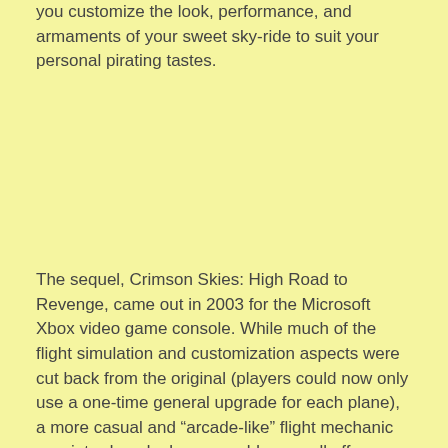you customize the look, performance, and armaments of your sweet sky-ride to suit your personal pirating tastes.
The sequel, Crimson Skies: High Road to Revenge, came out in 2003 for the Microsoft Xbox video game console. While much of the flight simulation and customization aspects were cut back from the original (players could now only use a one-time general upgrade for each plane), a more casual and “arcade-like” flight mechanic was introduced: players could now pull off maneuvers like barrel-rolls and Immelmann